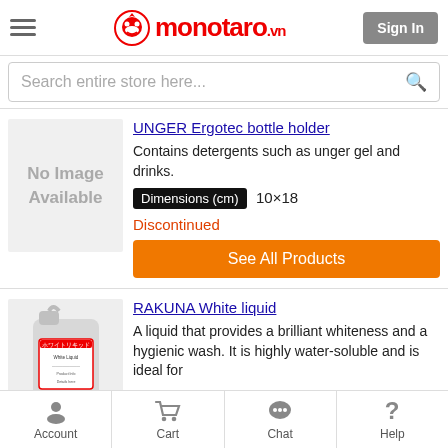monotaro.vn — Sign In
Search entire store here...
UNGER Ergotec bottle holder
Contains detergents such as unger gel and drinks.
Dimensions (cm)  10×18
Discontinued
See All Products
RAKUNA White liquid
A liquid that provides a brilliant whiteness and a hygienic wash. It is highly water-soluble and is ideal for
Account  Cart  Chat  Help